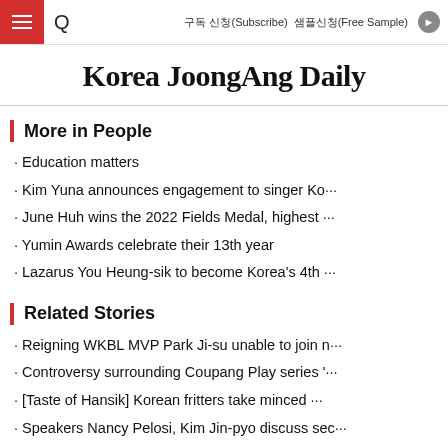Korea JoongAng Daily — 구독 신청(Subscribe)   샘플신청(Free Sample)
Korea JoongAng Daily
More in People
Education matters
Kim Yuna announces engagement to singer Ko···
June Huh wins the 2022 Fields Medal, highest ···
Yumin Awards celebrate their 13th year
Lazarus You Heung-sik to become Korea's 4th ···
Related Stories
Reigning WKBL MVP Park Ji-su unable to join n···
Controversy surrounding Coupang Play series '···
[Taste of Hansik] Korean fritters take minced ···
Speakers Nancy Pelosi, Kim Jin-pyo discuss sec···